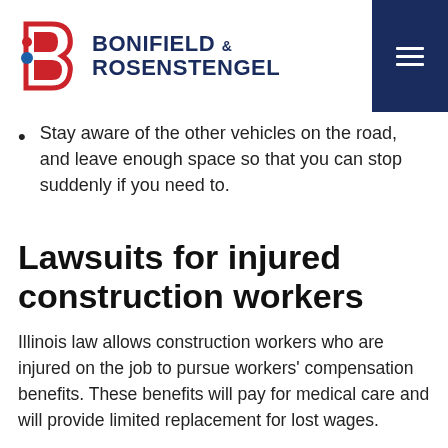Bonifield & Rosenstengel — navigation header with logo
Stay aware of the other vehicles on the road, and leave enough space so that you can stop suddenly if you need to.
Lawsuits for injured construction workers
Illinois law allows construction workers who are injured on the job to pursue workers' compensation benefits. These benefits will pay for medical care and will provide limited replacement for lost wages.